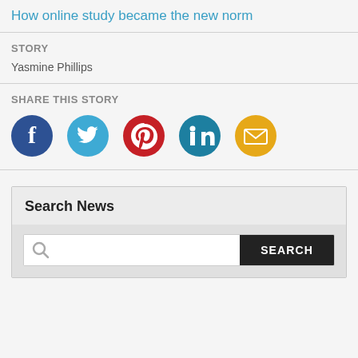How online study became the new norm
STORY
Yasmine Phillips
SHARE THIS STORY
[Figure (infographic): Social share icons: Facebook, Twitter, Pinterest, LinkedIn, Email]
Search News
SEARCH